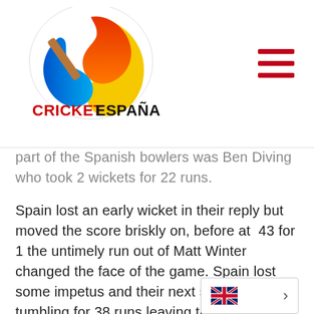Cricket España logo and navigation
part of the Spanish bowlers was Ben Diving who took 2 wickets for 22 runs.
Spain lost an early wicket in their reply but moved the score briskly on, before at 43 for 1 the untimely run out of Matt Winter changed the face of the game. Spain lost some impetus and their next 5 wickets went tumbling for 38 runs leaving them struggling on 81 for 7.
Spanish supporters were given f